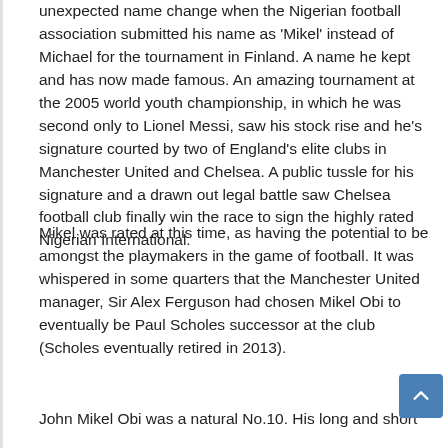unexpected name change when the Nigerian football association submitted his name as 'Mikel' instead of Michael for the tournament in Finland. A name he kept and has now made famous. An amazing tournament at the 2005 world youth championship, in which he was second only to Lionel Messi, saw his stock rise and he's signature courted by two of England's elite clubs in Manchester United and Chelsea. A public tussle for his signature and a drawn out legal battle saw Chelsea football club finally win the race to sign the highly rated Nigerian International.
Mikel was rated at this time, as having the potential to be amongst the playmakers in the game of football. It was whispered in some quarters that the Manchester United manager, Sir Alex Ferguson had chosen Mikel Obi to eventually be Paul Scholes successor at the club (Scholes eventually retired in 2013).
John Mikel Obi was a natural No.10. His long and short